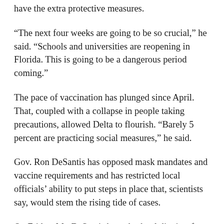have the extra protective measures.
“The next four weeks are going to be so crucial,” he said. “Schools and universities are reopening in Florida. This is going to be a dangerous period coming.”
The pace of vaccination has plunged since April. That, coupled with a collapse in people taking precautions, allowed Delta to flourish. “Barely 5 percent are practicing social measures,” he said.
Gov. Ron DeSantis has opposed mask mandates and vaccine requirements and has restricted local officials’ ability to put steps in place that, scientists say, would stem the rising tide of cases.
On Friday, Mr. DeSantis barred school districts from requiring students to wear masks when classes begin next week, leaving it to parents to decide whether their